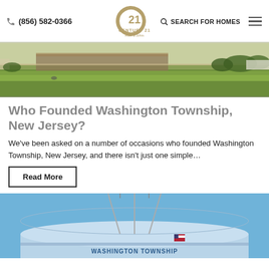(856) 582-0366 | CENTURY 21 Rauh & Johns | SEARCH FOR HOMES
[Figure (photo): Aerial or ground-level photo of a green field/farm landscape with buildings in the background]
Who Founded Washington Township, New Jersey?
We've been asked on a number of occasions who founded Washington Township, New Jersey, and there isn't just one simple…
Read More
[Figure (photo): Photo of a Washington Township water tower against a blue sky, with text 'WASHINGTON TOWNSHIP' and an American flag on the tank]